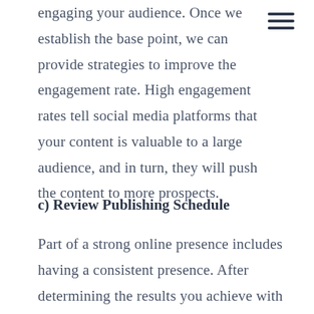engaging your audience. Once we establish the base point, we can provide strategies to improve the engagement rate. High engagement rates tell social media platforms that your content is valuable to a large audience, and in turn, they will push the content to more prospects.
c) Review Publishing Schedule
Part of a strong online presence includes having a consistent presence. After determining the results you achieve with your current schedule, we look for ways to increase the upload frequency. Our priority is always